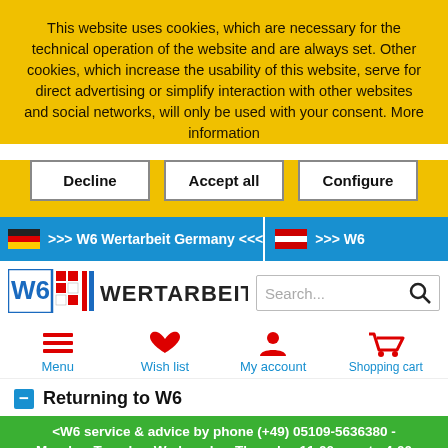This website uses cookies, which are necessary for the technical operation of the website and are always set. Other cookies, which increase the usability of this website, serve for direct advertising or simplify interaction with other websites and social networks, will only be used with your consent. More information
Decline
Accept all
Configure
>>> W6 Wertarbeit Germany <<<
>>> W6
[Figure (logo): W6 Wertarbeit logo with red and blue squares and bold text WERTARBEIT]
Search...
Menu
Wish list
My account
Shopping cart
Returning to W6
<W6 service & advice by phone (+49) 05109-5636380 - Monday, Tuesday, Wednesday, Thursday 11:00 a.m. to 4:00